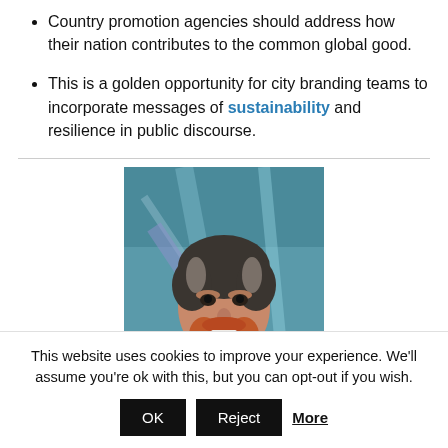Country promotion agencies should address how their nation contributes to the common global good.
This is a golden opportunity for city branding teams to incorporate messages of sustainability and resilience in public discourse.
[Figure (photo): Portrait photo of a smiling middle-aged man with a beard wearing a dark jacket, photographed outdoors with a blurred background of green and blue structural elements.]
This website uses cookies to improve your experience. We'll assume you're ok with this, but you can opt-out if you wish.